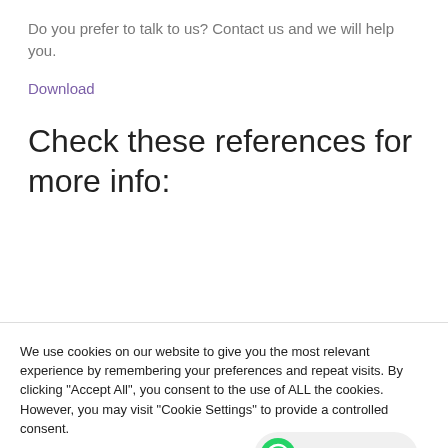Do you prefer to talk to us? Contact us and we will help you.
Download
Check these references for more info:
We use cookies on our website to give you the most relevant experience by remembering your preferences and repeat visits. By clicking "Accept All", you consent to the use of ALL the cookies. However, you may visit "Cookie Settings" to provide a controlled consent.
Cookie Settings | Reject All | Accept All | Read More
Quick questions